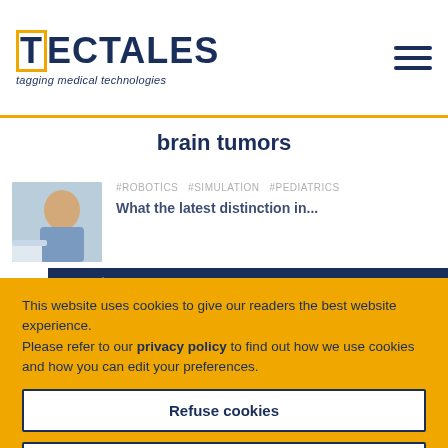TECTALES tagging medical technologies
brain tumors
#ROBOTICS #SIMULATION #PEDIATRICS
[Figure (photo): Child patient thumbnail photo for article about brain tumors with robotics and simulation in pediatrics]
[Figure (screenshot): Subscribe to Newsletter banner with paper plane icon and close (x) button over dark navy blue background]
This website uses cookies to give our readers the best website experience.
Please refer to our privacy policy to find out how we use cookies and how you can edit your preferences.
Refuse cookies
Accept cookies